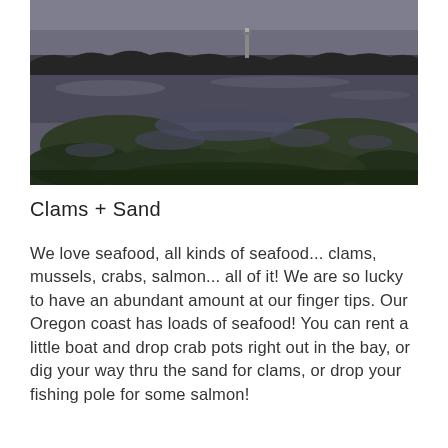[Figure (photo): A dark, moody landscape photograph of a tidal flat or estuary at dusk. The foreground shows patches of dark green marsh grass and shallow water pools reflecting a grey sky. In the distant background, trees and a lighthouse or tower structure are silhouetted against the overcast sky.]
Clams + Sand
We love seafood, all kinds of seafood... clams, mussels, crabs, salmon... all of it! We are so lucky to have an abundant amount at our finger tips. Our Oregon coast has loads of seafood! You can rent a little boat and drop crab pots right out in the bay, or dig your way thru the sand for clams, or drop your fishing pole for some salmon!